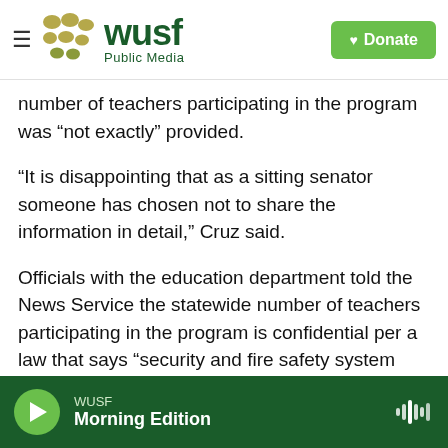WUSF Public Media | Donate
number of teachers participating in the program was “not exactly” provided.
“It is disappointing that as a sitting senator someone has chosen not to share the information in detail,” Cruz said.
Officials with the education department told the News Service the statewide number of teachers participating in the program is confidential per a law that says “security and fire safety system plans” are exempt from public record.
“This information is confidential because it could
WUSF Morning Edition